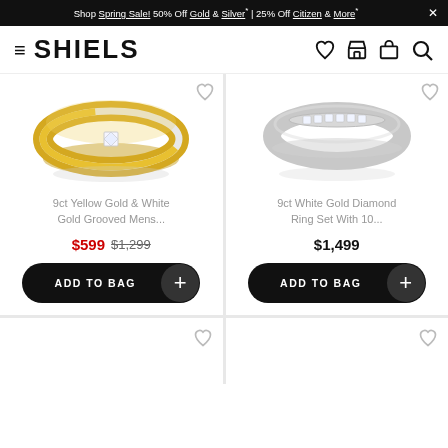Shop Spring Sale! 50% Off Gold & Silver* | 25% Off Citizen & More* ×
SHIELS
[Figure (photo): 9ct Yellow Gold & White Gold Grooved Mens ring with a diamond center stone]
9ct Yellow Gold & White Gold Grooved Mens...
$599 $1,299
[Figure (photo): 9ct White Gold Diamond Ring Set with 10 channel-set diamonds]
9ct White Gold Diamond Ring Set With 10...
$1,499